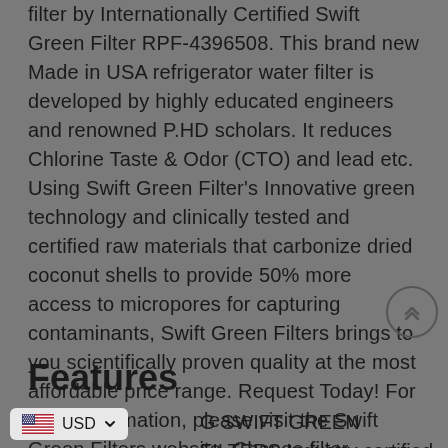filter by Internationally Certified Swift Green Filter RPF-4396508. This brand new Made in USA refrigerator water filter is developed by highly educated engineers and renowned P.HD scholars. It reduces Chlorine Taste & Odor (CTO) and lead etc. Using Swift Green Filter's Innovative green technology and clinically tested and certified raw materials that carbonize dried coconut shells to provide 50% more access to micropores for capturing contaminants, Swift Green Filters brings to you scientifically proven quality at the most affordable price range. Request Today! For more information, please visit the Swift Green Filters website. Change filter frequency: every 4-6 months. ####product-details-end####
Features
G SWIFT GREEN FILTERS.Industry certified t ANSI 42 standard. Royal Pure Filters reduces Chlorine Taste & Odor (CTO) and Lead.